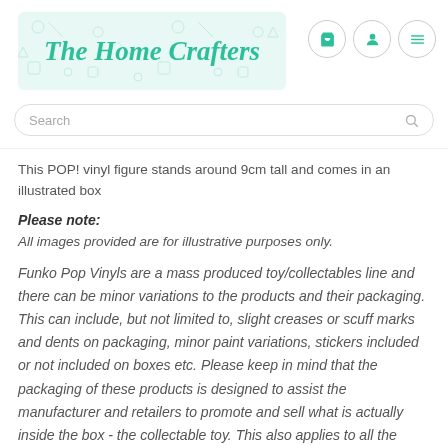The Home Crafters
This POP! vinyl figure stands around 9cm tall and comes in an illustrated box
Please note:
All images provided are for illustrative purposes only.
Funko Pop Vinyls are a mass produced toy/collectables line and there can be minor variations to the products and their packaging. This can include, but not limited to, slight creases or scuff marks and dents on packaging, minor paint variations, stickers included or not included on boxes etc. Please keep in mind that the packaging of these products is designed to assist the manufacturer and retailers to promote and sell what is actually inside the box - the collectable toy. This also applies to all the products across the range including homewares